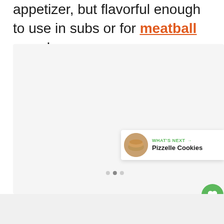appetizer, but flavorful enough to use in subs or for meatball soup!
[Figure (photo): Large light gray image placeholder area showing a food photo (mostly blank/faded), with navigation dots at the bottom center. A green heart/like button with count 57 and a share button overlay on the right side.]
WHAT'S NEXT → Pizzelle Cookies